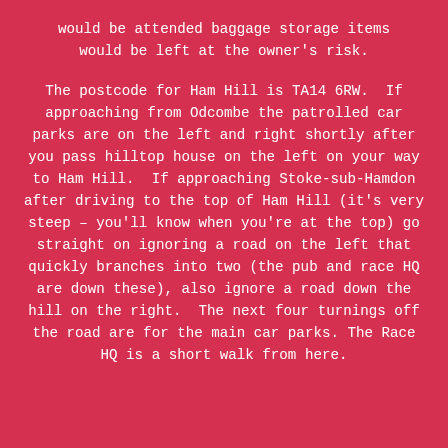would be attended baggage storage items would be left at the owner's risk.

The postcode for Ham Hill is TA14 6RW. If approaching from Odcombe the patrolled car parks are on the left and right shortly after you pass hilltop house on the left on your way to Ham Hill. If approaching Stoke-sub-Hamdon after driving to the top of Ham Hill (it's very steep – you'll know when you're at the top) go straight on ignoring a road on the left that quickly branches into two (the pub and race HQ are down these), also ignore a road down the hill on the right. The next four turnings off the road are for the main car parks. The Race HQ is a short walk from here.